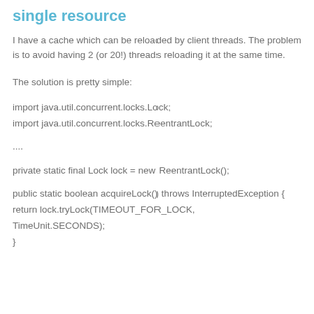single resource
I have a cache which can be reloaded by client threads. The problem is to avoid having 2 (or 20!) threads reloading it at the same time.
The solution is pretty simple:
import java.util.concurrent.locks.Lock;
import java.util.concurrent.locks.ReentrantLock;

....

private static final Lock lock = new ReentrantLock();

public static boolean acquireLock() throws InterruptedException {
return lock.tryLock(TIMEOUT_FOR_LOCK, TimeUnit.SECONDS);
}